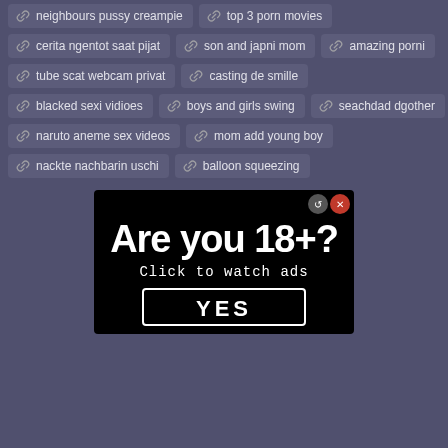neighbours pussy creampie
top 3 porn movies
cerita ngentot saat pijat
son and japni mom
amazing porni
tube scat webcam privat
casting de smille
blacked sexi vidioes
boys and girls swing
seachdad dgother
naruto aneme sex videos
mom add young boy
nackte nachbarin uschi
balloon squeezing
[Figure (screenshot): Advertisement banner with black background reading 'Are you 18+? Click to watch ads' with a YES button]